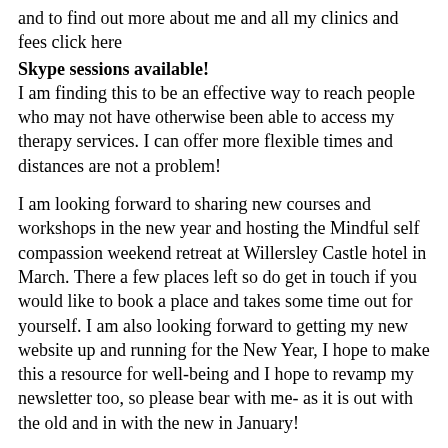and to find out more about me and all my clinics and fees click here
Skype sessions available!
I am finding this to be an effective way to reach people who may not have otherwise been able to access my therapy services. I can offer more flexible times and distances are not a problem!
I am looking forward to sharing new courses and workshops in the new year and hosting the Mindful self compassion weekend retreat at Willersley Castle hotel in March. There a few places left so do get in touch if you would like to book a place and takes some time out for yourself. I am also looking forward to getting my new website up and running for the New Year, I hope to make this a resource for well-being and I hope to revamp my newsletter too, so please bear with me- as it is out with the old and in with the new in January!